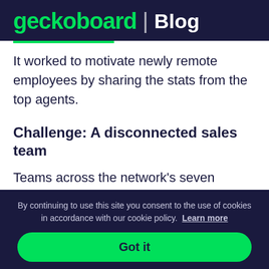geckoboard | Blog
It worked to motivate newly remote employees by sharing the stats from the top agents.
Challenge: A disconnected sales team
Teams across the network's seven locations were
By continuing to use this site you consent to the use of cookies in accordance with our cookie policy. Learn more
Got it